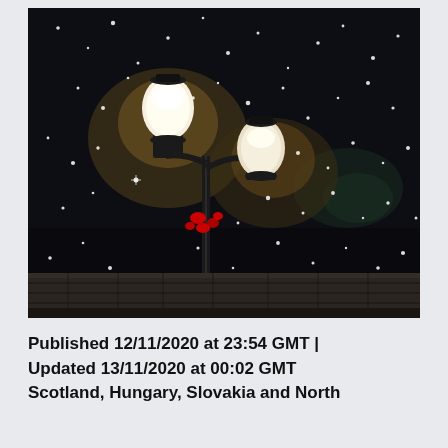[Figure (photo): Night-time photograph of a street lamp post with two glowing white globe lights and red Christmas decorations, with snow falling visibly against a very dark background. Stone building facade visible at the bottom.]
Published 12/11/2020 at 23:54 GMT | Updated 13/11/2020 at 00:02 GMT Scotland, Hungary, Slovakia and North